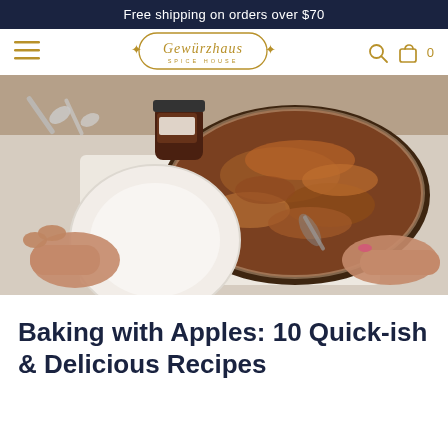Free shipping on orders over $70
[Figure (logo): Gewürzhaus Spice House logo in gold with decorative border and fleur-de-lis ornaments]
[Figure (photo): Overhead photo of hands serving apple crumble from an oval glass baking dish onto a white plate, with silver spoons and a small jar of spice visible on a linen cloth background]
Baking with Apples: 10 Quick-ish & Delicious Recipes